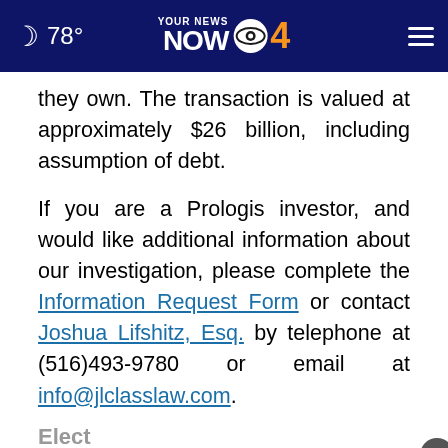78° YOUR NEWS NOW CBS 4
they own. The transaction is valued at approximately $26 billion, including assumption of debt.
If you are a Prologis investor, and would like additional information about our investigation, please complete the Information Request Form or contact Joshua Lifshitz, Esq. by telephone at (516)493-9780 or email at info@jlclasslaw.com.
Elect
[Figure (screenshot): Advertisement banner: Save Up To $100 Virginia Tire & Auto of Ashburn ...]
(partially visible/truncated bottom text)